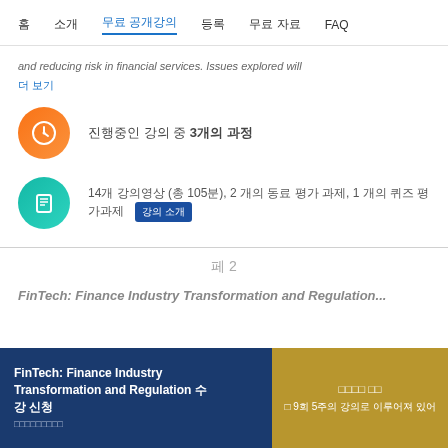홈  소개  무료 공개강의  등록  무료 자료  FAQ
and reducing risk in financial services. Issues explored will
더 보기
진행중인 강의 중 3개의 과정
14개 강의영상 (총 105분), 2 개의 동료 평가 과제, 1 개의 퀴즈 평가과제  강의 소개
페 2
FinTech: Finance Industry Transformation and Regulation 수 강 신청
매 9회 5주의 강의로 이루어져 있어